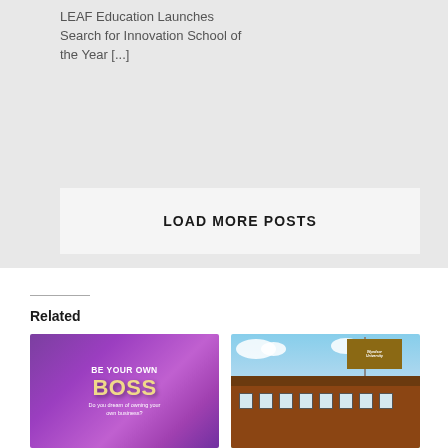LEAF Education Launches Search for Innovation School of the Year [...]
LOAD MORE POSTS
Related
[Figure (photo): Purple gradient promotional image with text 'BE YOUR OWN BOSS' and subtitle 'Do you dream of owning your own business?']
[Figure (photo): Photo of a university building with a brick facade and signage, blue sky with clouds in background]